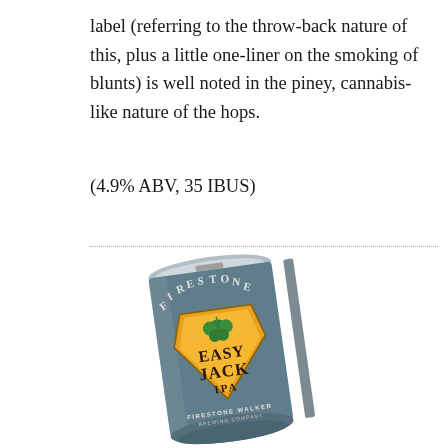label (referring to the throw-back nature of this, plus a little one-liner on the smoking of blunts) is well noted in the piney, cannabis-like nature of the hops.
(4.9% ABV, 35 IBUS)
[Figure (photo): A tilted can of Firestone Walker Easy Jack IPA beer, showing the front label with 'FIRESTONE' arched around the top, a shield logo with hop graphic, 'EASY JACK IPA' text, and 'FIRESTONE WALKER BREWING COMPANY' at the bottom. The can is dark slate/blue-grey colored.]